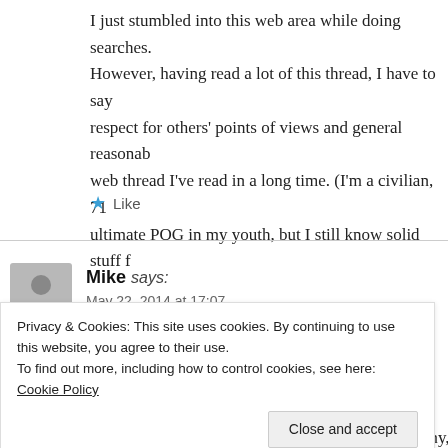I just stumbled into this web area while doing searches. However, having read a lot of this thread, I have to say respect for others' points of views and general reasonab web thread I've read in a long time. (I'm a civilian, 71 ultimate POG in my youth, but I still know solid stuff f
Like
Mike says:
May 22, 2014 at 17:07
I was a 15R (Apache helo mech) fresh out of AIT wher had to do humanitarian convoys into the city. We woul
Privacy & Cookies: This site uses cookies. By continuing to use this website, you agree to their use.
To find out more, including how to control cookies, see here: Cookie Policy
The aviation field is a small community in the Army, so